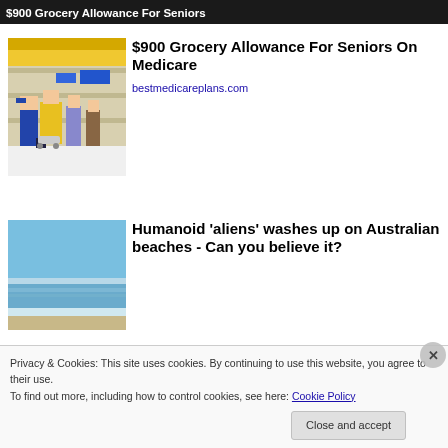$900 Grocery Allowance For Seniors
[Figure (photo): People shopping in a grocery store, pushing carts]
$900 Grocery Allowance For Seniors On Medicare
bestmedicareplans.com
[Figure (photo): Beach scene with waves and blue sky]
Humanoid 'aliens' washes up on Australian beaches - Can you believe it?
Privacy & Cookies: This site uses cookies. By continuing to use this website, you agree to their use.
To find out more, including how to control cookies, see here: Cookie Policy
Close and accept